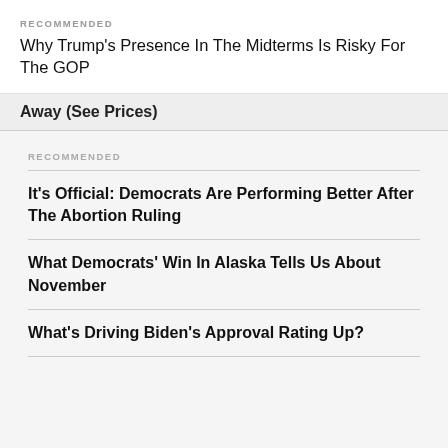RECOMMENDED
Why Trump's Presence In The Midterms Is Risky For The GOP
Away (See Prices)
RECOMMENDED
It's Official: Democrats Are Performing Better After The Abortion Ruling
What Democrats' Win In Alaska Tells Us About November
What's Driving Biden's Approval Rating Up?